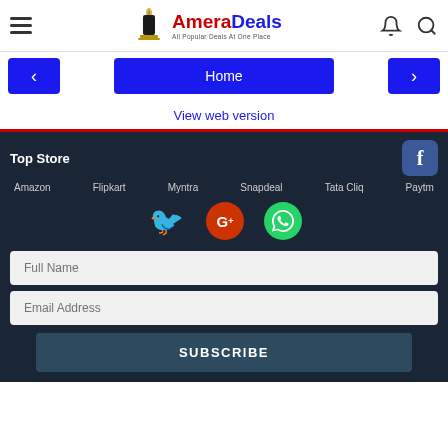[Figure (logo): AmeraDeals logo with hamburger menu, bell icon, and search icon in header]
[Figure (screenshot): Navigation bar with left arrow, Home button, and right arrow]
View web version
Top Store
Amazon   Flipkart   Myntra   Snapdeal   Tata Cliq   Paytm
[Figure (infographic): Social media icons: Twitter bird, Google Plus, WhatsApp, Facebook]
[Figure (other): Full Name input field placeholder]
[Figure (other): Email Address input field placeholder]
SUBSCRIBE